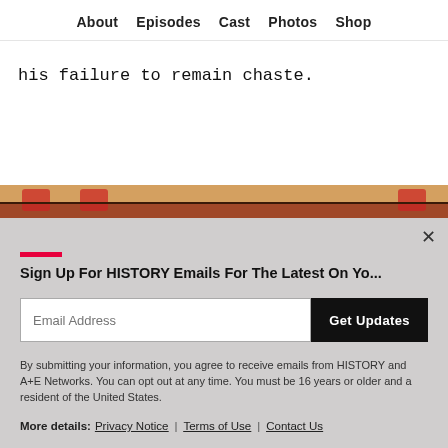About  Episodes  Cast  Photos  Shop
his failure to remain chaste.
[Figure (photo): Top portion of a decorative illustrated image with red and dark brown tones, partially visible]
Sign Up For HISTORY Emails For The Latest On Yo...
Email Address
Get Updates
By submitting your information, you agree to receive emails from HISTORY and A+E Networks. You can opt out at any time. You must be 16 years or older and a resident of the United States.
More details:  Privacy Notice |  Terms of Use |  Contact Us
[Figure (photo): Bottom portion of a decorative illustrated image with teal/green tones, partially visible]